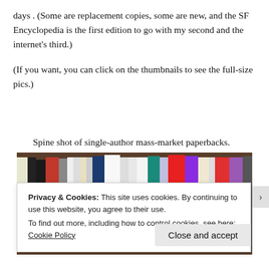days . (Some are replacement copies, some are new, and the SF Encyclopedia is the first edition to go with my second and the internet's third.)
(If you want, you can click on the thumbnails to see the full-size pics.)
Spine shot of single-author mass-market paperbacks.
[Figure (photo): A shelf of mass-market paperback books shown spine-out, including titles such as Three Worlds, Beyond, Tales, Heinlein, The Best Of, Four-Day Planet, Para, Null-A, Big Planet, Vance, and Mask among others.]
Privacy & Cookies: This site uses cookies. By continuing to use this website, you agree to their use.
To find out more, including how to control cookies, see here: Cookie Policy
Close and accept